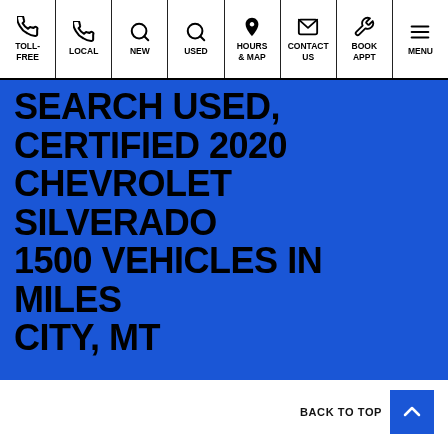Navigation bar: TOLL-FREE, LOCAL, NEW, USED, HOURS & MAP, CONTACT US, BOOK APPT, MENU
SEARCH USED, CERTIFIED 2020 CHEVROLET SILVERADO 1500 VEHICLES IN MILES CITY, MT
BACK TO TOP
INVENTORY
NANCE